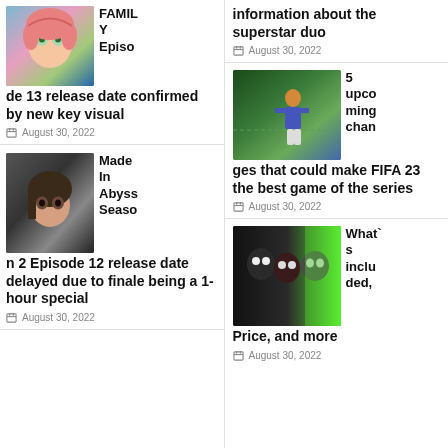[Figure (illustration): Anime girl with pink hair and green eyes from Spy x Family]
FAMILY Episode 13 release date confirmed by new key visual
August 30, 2022
[Figure (illustration): Anime character from Made In Abyss with dark hair]
Made In Abyss Season 2 Episode 12 release date delayed due to finale being a 1-hour special
August 30, 2022
information about the superstar duo
August 30, 2022
[Figure (photo): Soccer player celebrating in FIFA video game]
5 upcoming changes that could make FIFA 23 the best game of the series
August 30, 2022
[Figure (photo): Call of Duty game characters with skull masks and green background]
What's included, Price, and more
August 30, 2022